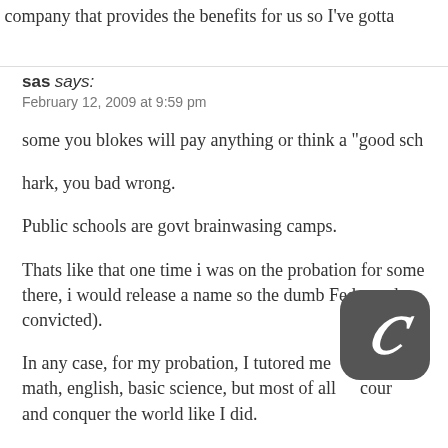company that provides the benefits for us so I've gotta
sas says:
February 12, 2009 at 9:59 pm
some you blokes will pay anything or think a “good sch
hark, you bad wrong.
Public schools are govt brainwasing camps.
Thats like that one time i was on the probation for some there, i would release a name so the dumb Feds made u convicted).
In any case, for my probation, I tutored me… childr math, english, basic science, but most of all … cour and conquer the world like I did.